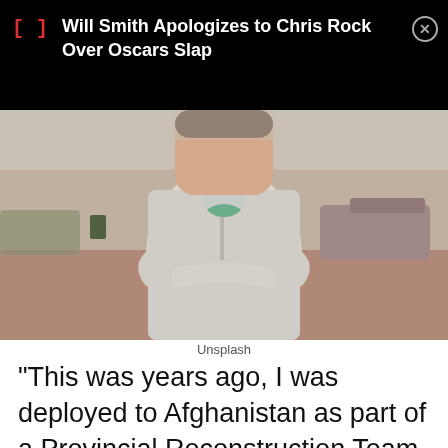Will Smith Apologizes to Chris Rock Over Oscars Slap
[Figure (photo): Person standing with arms crossed wearing a grey fleece jacket and green tie, on a brick sidewalk with cars in the background]
Unsplash
“This was years ago, I was deployed to Afghanistan as part of a Provincial Reconstruction Team with the mission